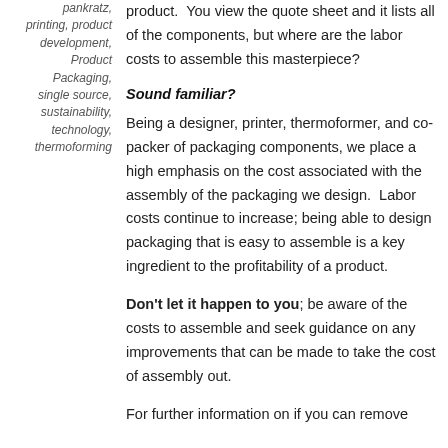pankratz, printing, product development, Product Packaging, single source, sustainability, technology, thermoforming
product. You view the quote sheet and it lists all of the components, but where are the labor costs to assemble this masterpiece?
Sound familiar?
Being a designer, printer, thermoformer, and co-packer of packaging components, we place a high emphasis on the cost associated with the assembly of the packaging we design. Labor costs continue to increase; being able to design packaging that is easy to assemble is a key ingredient to the profitability of a product.
Don't let it happen to you; be aware of the costs to assemble and seek guidance on any improvements that can be made to take the cost of assembly out.
For further information on if you can remove